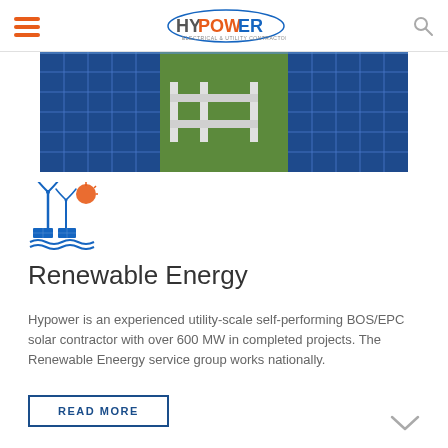HyPOWER — Electrical & Utility Contractor
[Figure (photo): Aerial/close-up photo of solar panels in a field with green grass and structural mounting hardware visible between the panels]
[Figure (logo): Renewable energy icon showing wind turbines, solar panels, and water waves in blue and orange colors]
Renewable Energy
Hypower is an experienced utility-scale self-performing BOS/EPC solar contractor with over 600 MW in completed projects. The Renewable Eneergy service group works nationally.
READ MORE